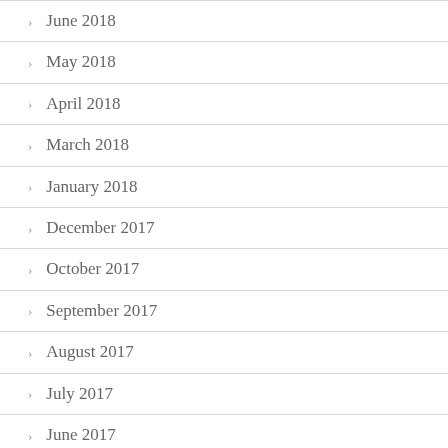June 2018
May 2018
April 2018
March 2018
January 2018
December 2017
October 2017
September 2017
August 2017
July 2017
June 2017